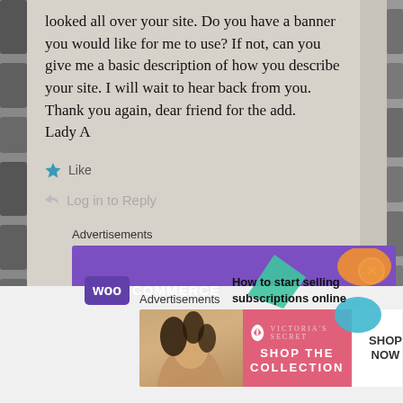looked all over your site. Do you have a banner you would like for me to use? If not, can you give me a basic description of how you describe your site. I will wait to hear back from you. Thank you again, dear friend for the add.
Lady A
Like
Log in to Reply
Advertisements
[Figure (advertisement): WooCommerce banner ad: purple background with green and orange decorative shapes, WooCommerce logo on left, text 'How to start selling subscriptions online']
Advertisements
[Figure (advertisement): Victoria's Secret banner ad: photo of woman on left, pink background with VS logo and 'SHOP THE COLLECTION' text, white 'SHOP NOW' button on right]